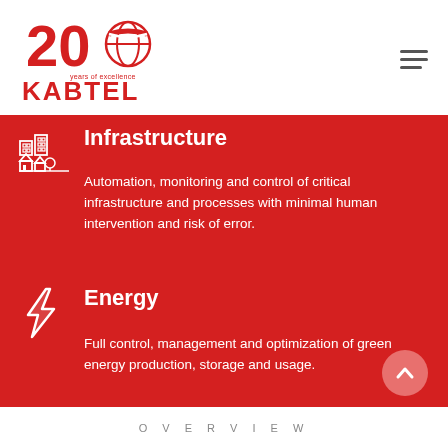[Figure (logo): Kabtel 20 years of excellence logo with red 20 text and globe icon, KABTEL text in red below]
Infrastructure
Automation, monitoring and control of critical infrastructure and processes with minimal human intervention and risk of error.
Energy
Full control, management and optimization of green energy production, storage and usage.
OVERVIEW